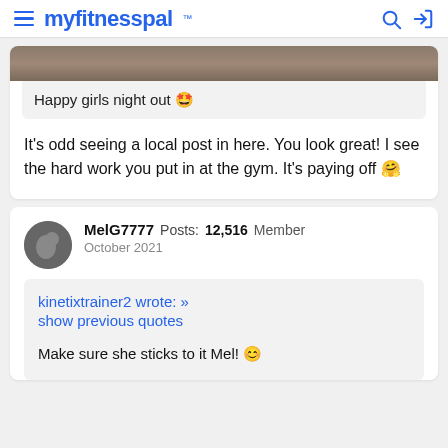myfitnesspal
[Figure (photo): Cropped photo strip at top of post card]
Happy girls night out 🤩
It's odd seeing a local post in here. You look great! I see the hard work you put in at the gym. It's paying off 🤗
MelG7777  Posts: 12,516  Member
October 2021
kinetixtrainer2 wrote: »
show previous quotes

Make sure she sticks to it Mel! 😊